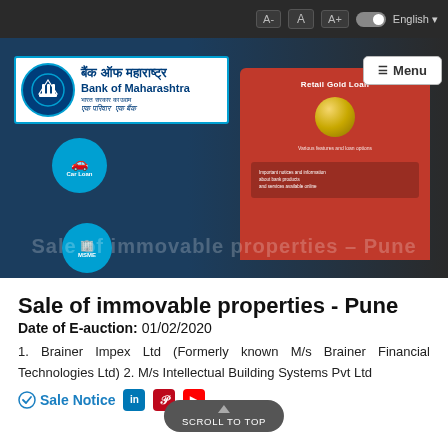[Figure (screenshot): Bank of Maharashtra website screenshot hero banner showing the bank logo, Car Loan and MSME bubbles, and a red screen mockup with gold loan promotion. Overlaid text reads 'Sale of immovable properties – Pune'.]
Sale of immovable properties - Pune
Date of E-auction: 01/02/2020
1. Brainer Impex Ltd (Formerly known M/s Brainer Financial Technologies Ltd) 2. M/s Intellectual Building Systems Pvt Ltd
Sale Notice